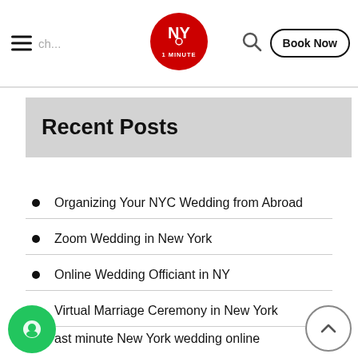NY 1 MINUTE — Search | Book Now
Recent Posts
Organizing Your NYC Wedding from Abroad
Zoom Wedding in New York
Online Wedding Officiant in NY
Virtual Marriage Ceremony in New York
ast minute New York wedding online